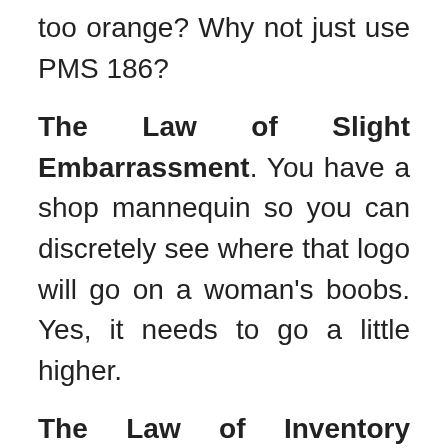too orange?  Why not just use PMS 186?
The Law of Slight Embarrassment. You have a shop mannequin so you can discretely see where that logo will go on a woman's boobs.  Yes, it needs to go a little higher.
The Law of Inventory Volume. The customer that yells the loudest about inventory counts